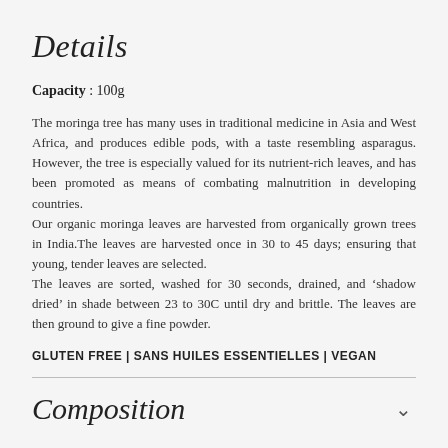Details
Capacity : 100g
The moringa tree has many uses in traditional medicine in Asia and West Africa, and produces edible pods, with a taste resembling asparagus. However, the tree is especially valued for its nutrient-rich leaves, and has been promoted as means of combating malnutrition in developing countries.
Our organic moringa leaves are harvested from organically grown trees in India.The leaves are harvested once in 30 to 45 days; ensuring that young, tender leaves are selected.
The leaves are sorted, washed for 30 seconds, drained, and 'shadow dried' in shade between 23 to 30C until dry and brittle. The leaves are then ground to give a fine powder.
GLUTEN FREE | SANS HUILES ESSENTIELLES | VEGAN
Composition